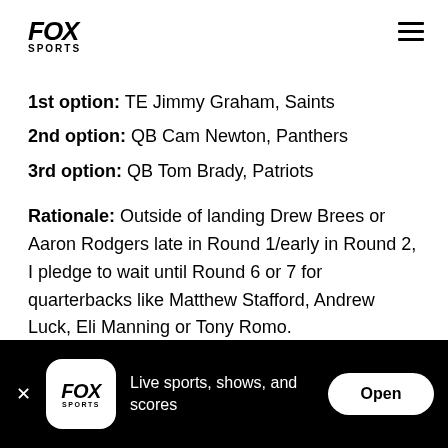FOX SPORTS
1st option: TE Jimmy Graham, Saints
2nd option: QB Cam Newton, Panthers
3rd option: QB Tom Brady, Patriots
Rationale: Outside of landing Drew Brees or Aaron Rodgers late in Round 1/early in Round 2, I pledge to wait until Round 6 or 7 for quarterbacks like Matthew Stafford, Andrew Luck, Eli Manning or Tony Romo.
That creates a small window of opportunity for
FOX SPORTS — Live sports, shows, and scores — Open